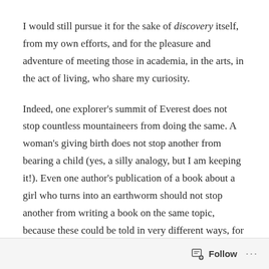I would still pursue it for the sake of discovery itself, from my own efforts, and for the pleasure and adventure of meeting those in academia, in the arts, in the act of living, who share my curiosity.
Indeed, one explorer's summit of Everest does not stop countless mountaineers from doing the same. A woman's giving birth does not stop another from bearing a child (yes, a silly analogy, but I am keeping it!). Even one author's publication of a book about a girl who turns into an earthworm should not stop another from writing a book on the same topic, because these could be told in very different ways, for very different audiences, and yes we do need more stories like this!
Follow ...